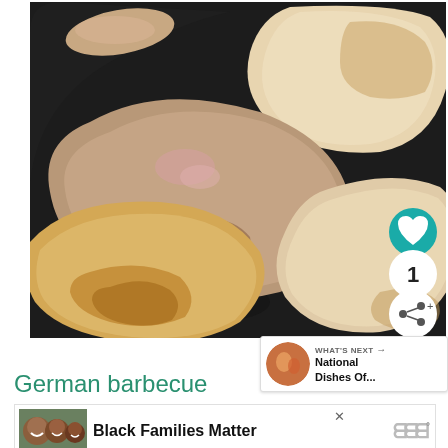[Figure (photo): Top-down photo of several pieces of meat (pork/chicken) cooking on a dark iron griddle/pan. Meats are various shades of brown and white, partially cooked, on a black seasoned cast iron surface.]
[Figure (photo): Small circular thumbnail image of a dish with vegetables for 'What's Next' recommendation panel]
WHAT'S NEXT → National Dishes Of...
German barbecue
[Figure (photo): Advertisement banner image showing three people smiling]
Black Families Matter